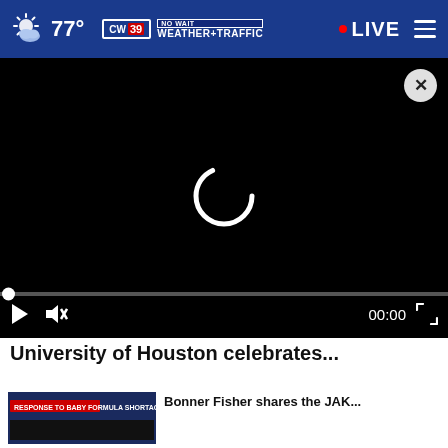77° CW39 NO WAIT WEATHER+TRAFFIC LIVE
[Figure (screenshot): Video player with black screen showing loading spinner, close button (X) in top right, progress bar at bottom with dot at start, playback controls: play button, mute button, time 00:00, fullscreen button]
University of Houston celebrates...
[Figure (screenshot): Thumbnail image showing news segment with text 'RESPONSE TO BABY FORMULA SHORTAGE']
Bonner Fisher shares the JAK...